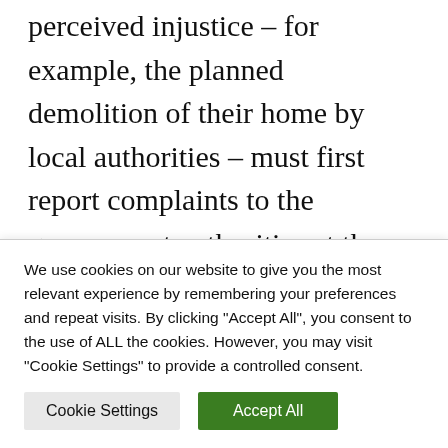perceived injustice – for example, the planned demolition of their home by local authorities – must first report complaints to the government authorities at the closest administrative level. Ultimately, however, a large number of petitioners choose to report to higher authorities, including the central government, as there is a deeply ingrained belief in the
We use cookies on our website to give you the most relevant experience by remembering your preferences and repeat visits. By clicking "Accept All", you consent to the use of ALL the cookies. However, you may visit "Cookie Settings" to provide a controlled consent.